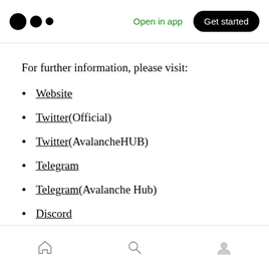Open in app | Get started
For further information, please visit:
Website
Twitter(Official)
Twitter(AvalancheHUB)
Telegram
Telegram(Avalanche Hub)
Discord
Home | Search | Profile